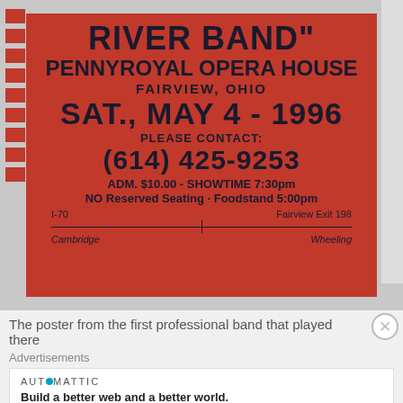[Figure (photo): A red concert poster for 'River Band' at Pennyroyal Opera House, Fairview, Ohio, Saturday May 4 1996. Shows contact number (614) 425-9253, admission $10.00, showtime 7:30pm, no reserved seating, foodstand 5:00pm, and directions via I-70 Fairview Exit 198 between Cambridge and Wheeling.]
The poster from the first professional band that played there
Advertisements
AUTOMATTIC
Build a better web and a better world.